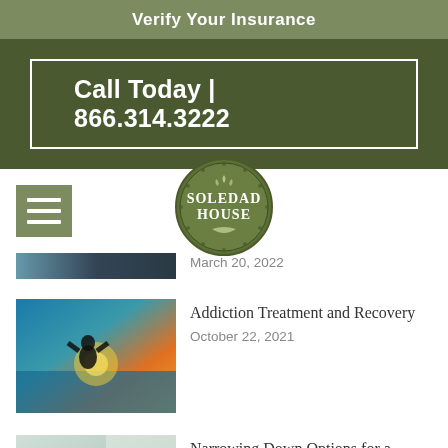Verify Your Insurance
Call Today | 866.314.3222
[Figure (logo): Soledad House circular green logo with decorative border]
March 20, 2022
[Figure (photo): Person silhouetted against sunset over water]
Addiction Treatment and Recovery
October 22, 2021
[Figure (photo): Doctor or counselor in consultation with patient]
Narrowing Down Options for a Rehab Center in California
September 30, 2021